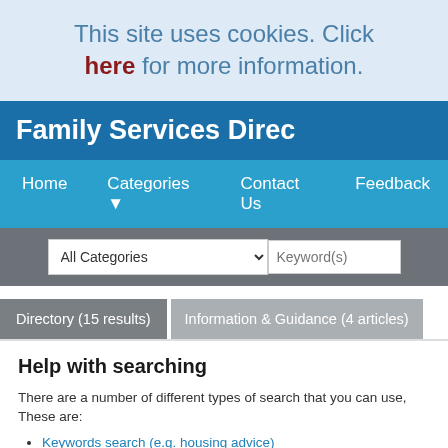This site uses cookies. Click here for more information.
Family Services Direc
Home   Categories ▼   Contact Us   Feedback
[Figure (screenshot): Search bar with All Categories dropdown and Keyword(s) text input]
Directory (15 results)   Information & Guidance (4 articles)
Help with searching
There are a number of different types of search that you can use, These are:
Keywords search (e.g. housing advice)